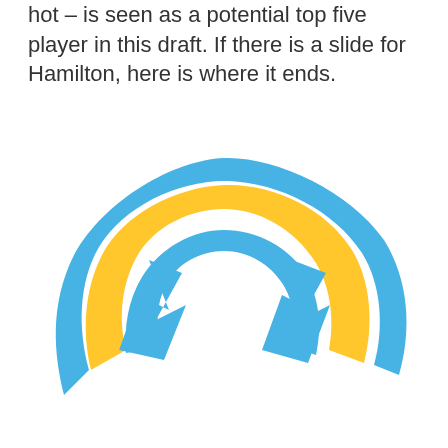hot – is seen as a potential top five player in this draft. If there is a slide for Hamilton, here is where it ends.
[Figure (logo): Los Angeles Chargers NFL team logo — a lightning bolt arc in gold/yellow with a blue outline, forming a curved bolt shape.]